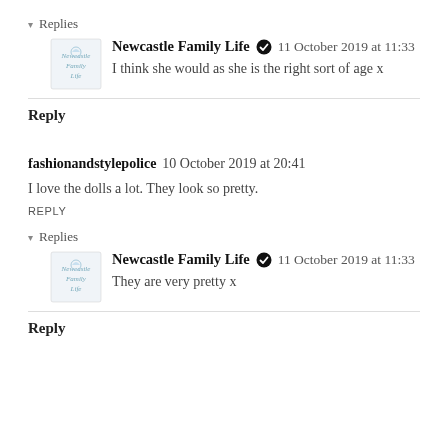▾ Replies
Newcastle Family Life ✓  11 October 2019 at 11:33
I think she would as she is the right sort of age x
Reply
fashionandstylepolice  10 October 2019 at 20:41
I love the dolls a lot. They look so pretty.
REPLY
▾ Replies
Newcastle Family Life ✓  11 October 2019 at 11:33
They are very pretty x
Reply